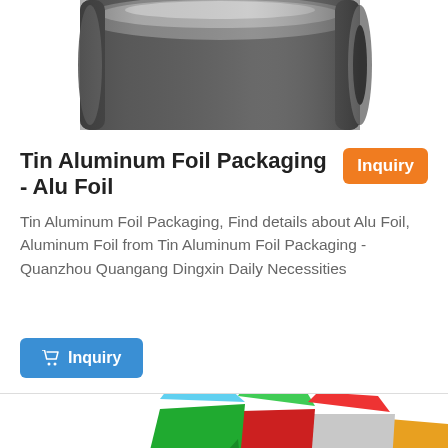[Figure (photo): Partial view of a dark grey/silver aluminum foil roll from above, cropped at top]
Tin Aluminum Foil Packaging - Alu Foil
Tin Aluminum Foil Packaging, Find details about Alu Foil, Aluminum Foil from Tin Aluminum Foil Packaging - Quanzhou Quangang Dingxin Daily Necessities
[Figure (photo): Colorful metallic foil sheets fanned out: blue, green, red, silver/grey, and gold/orange colors]